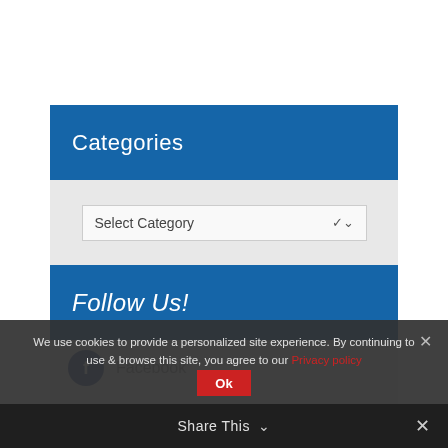Categories
Select Category
Follow Us!
[Figure (screenshot): Social media icons — Facebook circle icon with 'Facebook' text label, partially visible]
We use cookies to provide a personalized site experience. By continuing to use & browse this site, you agree to our Privacy policy
Ok
Share This